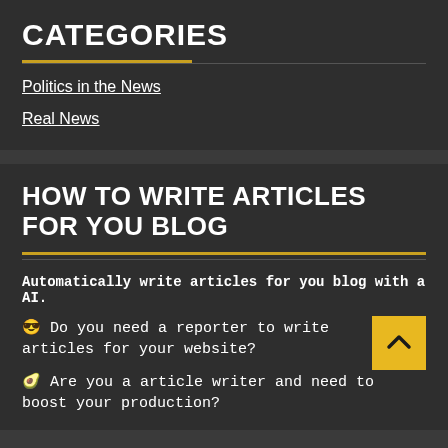CATEGORIES
Politics in the News
Real News
HOW TO WRITE ARTICLES FOR YOU BLOG
Automatically write articles for you blog with a AI.
😎 Do you need a reporter to write articles for your website?
🥑 Are you a article writer and need to boost your production?